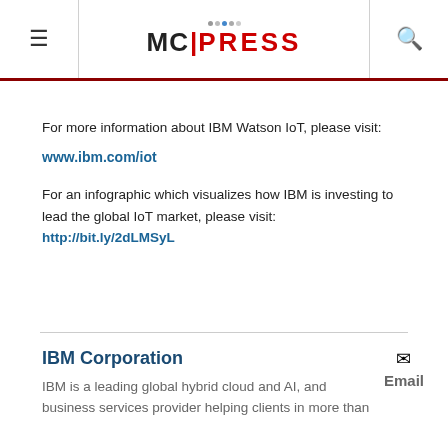MC Press
For more information about IBM Watson IoT, please visit:
www.ibm.com/iot
For an infographic which visualizes how IBM is investing to lead the global IoT market, please visit: http://bit.ly/2dLMSyL
IBM Corporation
IBM is a leading global hybrid cloud and AI, and business services provider helping clients in more than